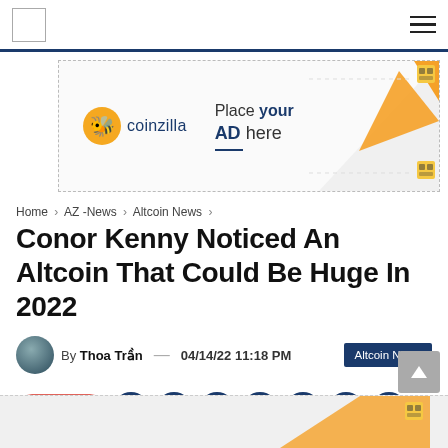[Figure (infographic): Coinzilla advertisement banner: 'Place your AD here' with orange triangle graphic]
Home > AZ -News > Altcoin News >
Conor Kenny Noticed An Altcoin That Could Be Huge In 2022
By Thoa Trần — 04/14/22 11:18 PM   Altcoin News
Share  [social icons: Facebook, Twitter, Telegram, WhatsApp, Reddit, LinkedIn, Line]